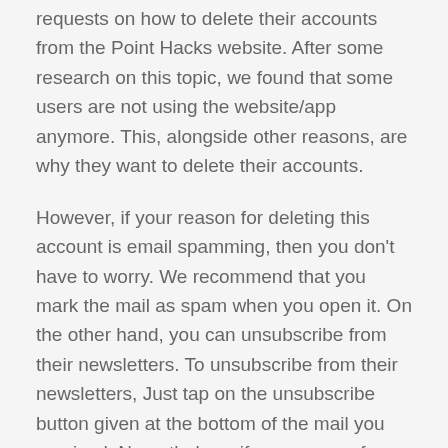requests on how to delete their accounts from the Point Hacks website. After some research on this topic, we found that some users are not using the website/app anymore. This, alongside other reasons, are why they want to delete their accounts.
However, if your reason for deleting this account is email spamming, then you don't have to worry. We recommend that you mark the mail as spam when you open it. On the other hand, you can unsubscribe from their newsletters. To unsubscribe from their newsletters, Just tap on the unsubscribe button given at the bottom of the mail you received. Nevertheless, if your reason for deleting your account is otherwise, here is a step-by-step method on how to close your account from the website.
How To Delete Point Hacks